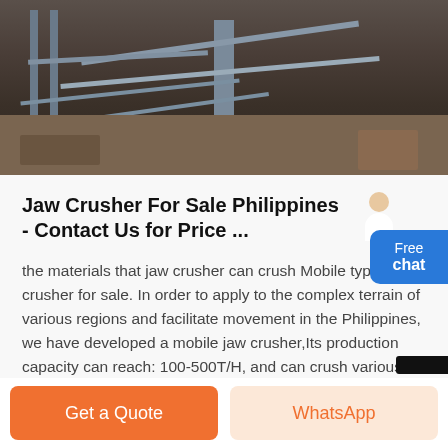[Figure (photo): Aerial or elevated view of an industrial crushing/construction site with steel structures, conveyor beams, and earth ground visible]
Jaw Crusher For Sale Philippines - Contact Us for Price ...
the materials that jaw crusher can crush Mobile type jaw crusher for sale. In order to apply to the complex terrain of various regions and facilitate movement in the Philippines, we have developed a mobile jaw crusher,Its production capacity can reach: 100-500T/H, and can crush various materials, such as granite, marble, basalt, iron ore, river
Get a Quote | WhatsApp